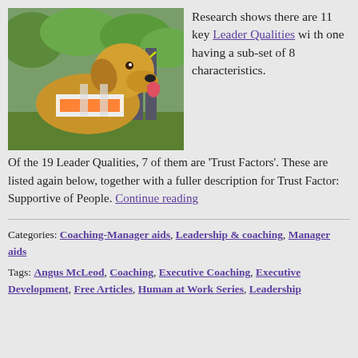[Figure (photo): A golden retriever guide dog wearing an orange and white harness vest, on a leash in a park setting]
Research shows there are 11 key Leader Qualities with one having a sub-set of 8 characteristics. Of the 19 Leader Qualities, 7 of them are ‘Trust Factors’. These are listed again below, together with a fuller description for Trust Factor: Supportive of People. Continue reading
Categories: Coaching-Manager aids, Leadership & coaching, Manager aids
Tags: Angus McLeod, Coaching, Executive Coaching, Executive Development, Free Articles, Human at Work Series, Leadership